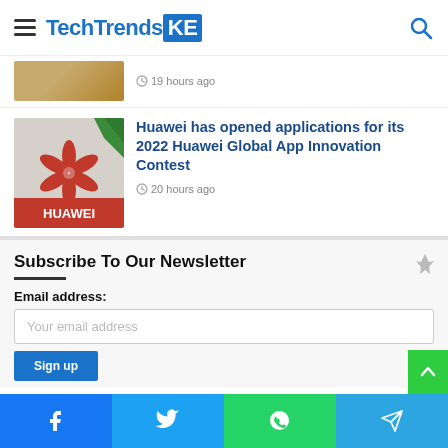TechTrendsKE
19 hours ago
Huawei has opened applications for its 2022 Huawei Global App Innovation Contest
20 hours ago
Subscribe To Our Newsletter
Email address:
Your email address